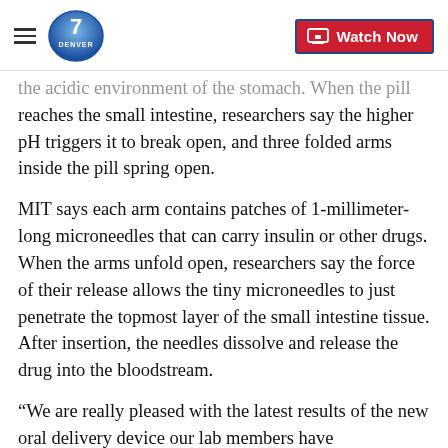Denver7 | Watch Now
the acidic environment of the stomach. When the pill reaches the small intestine, researchers say the higher pH triggers it to break open, and three folded arms inside the pill spring open.
MIT says each arm contains patches of 1-millimeter-long microneedles that can carry insulin or other drugs. When the arms unfold open, researchers say the force of their release allows the tiny microneedles to just penetrate the topmost layer of the small intestine tissue. After insertion, the needles dissolve and release the drug into the bloodstream.
“We are really pleased with the latest results of the new oral delivery device our lab members have